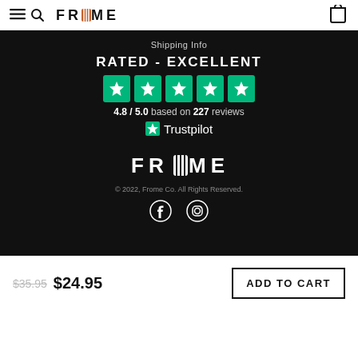FROME
Shipping Info
RATED - EXCELLENT
[Figure (other): Five green Trustpilot star rating boxes]
4.8 / 5.0 based on 227 reviews
[Figure (logo): Trustpilot logo with green star icon]
[Figure (logo): FROME company logo in white on dark background]
© 2022, Frome Co. All Rights Reserved.
[Figure (other): Facebook and Instagram social media icons]
$35.95 $24.95  ADD TO CART